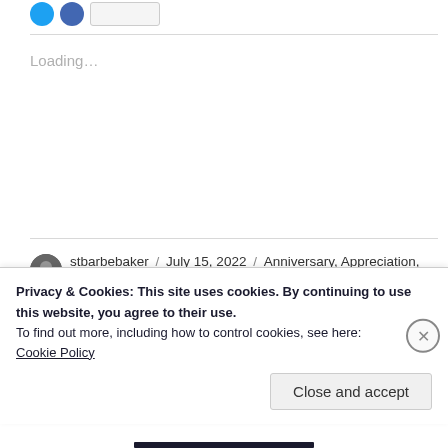[Figure (other): Social share buttons: two blue circle buttons and a pill-shaped button]
Loading...
stbarbebaker / July 15, 2022 / Anniversary, Appreciation, carbon sinks, Chappell Marsh, City of Sarkatoon, climate change, collaborating, connecting
Privacy & Cookies: This site uses cookies. By continuing to use this website, you agree to their use.
To find out more, including how to control cookies, see here:
Cookie Policy
Close and accept